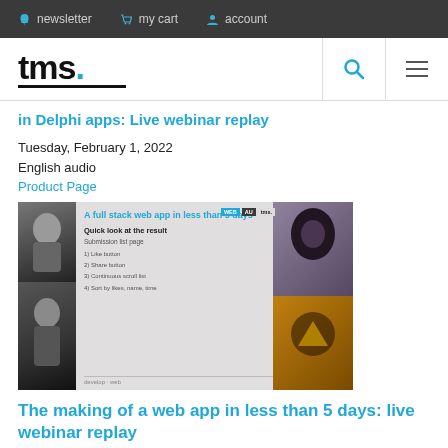newsletter  my cart  account
[Figure (logo): tms. logo with blue dot and underline, search icon and hamburger menu]
in Delphi apps: Live webinar replay
Tuesday, February 1, 2022
English audio
Product Page
[Figure (screenshot): Screenshot of a webinar showing 'A full stack web app in less than 5 days' presentation with Quick look at the result, Submission list page, 1) Like button, 2) Share button, 3) Continuous scroll list, 4) Sort by likes, name, time. TMS branding visible.]
The making of a web app in less than 5 days: live webinar replay
Tuesday, November 9, 2021